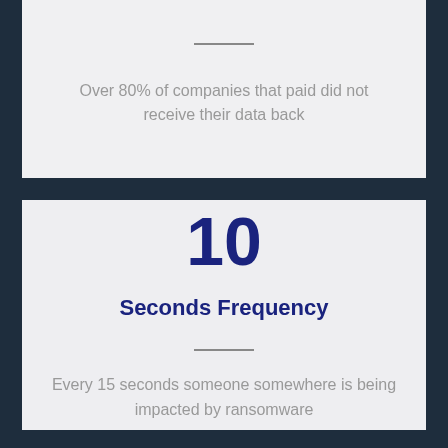Over 80% of companies that paid did not receive their data back
10
Seconds Frequency
Every 15 seconds someone somewhere is being impacted by ransomware